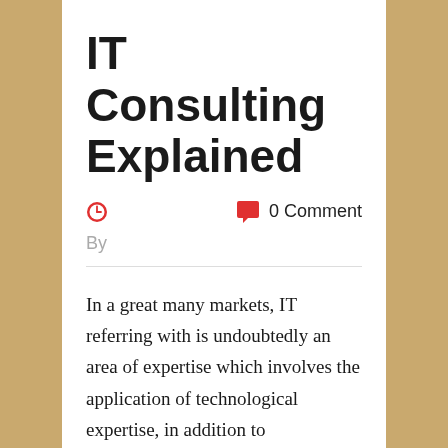IT Consulting Explained
0 Comment
By
In a great many markets, IT referring with is undoubtedly an area of expertise which involves the application of technological expertise, in addition to organization knowledge, inside the parts of IT, application improvement and